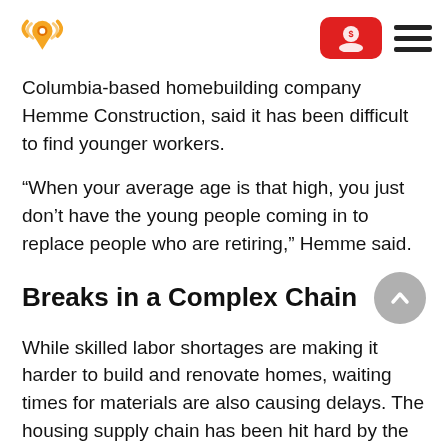[Logo] [Account button] [Menu]
Columbia-based homebuilding company Hemme Construction, said it has been difficult to find younger workers.
“When your average age is that high, you just don’t have the young people coming in to replace people who are retiring,” Hemme said.
Breaks in a Complex Chain
While skilled labor shortages are making it harder to build and renovate homes, waiting times for materials are also causing delays. The housing supply chain has been hit hard by the pandemic